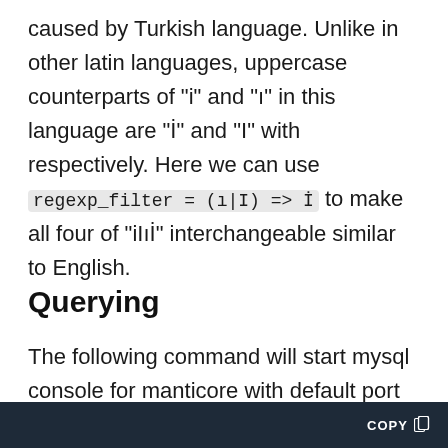caused by Turkish language. Unlike in other latin languages, uppercase counterparts of "i" and "ı" in this language are "İ" and "I" with respectively. Here we can use regexp_filter = (ı|I) => İ to make all four of "iIıİ" interchangeable similar to English.
Querying
The following command will start mysql console for manticore with default port (as long as mysql client is installed on the same machine).